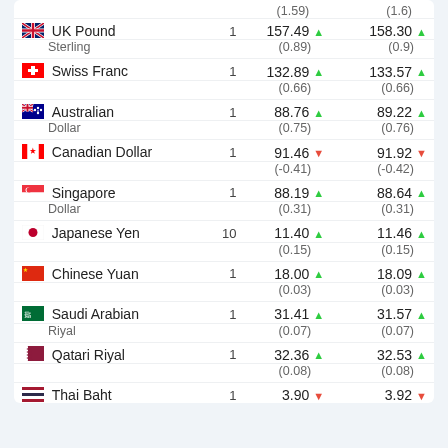| Currency | Unit | Buy |  | Sell |  |
| --- | --- | --- | --- | --- | --- |
| (top row partial) |  | (1.59) |  | (1.6) |  |
| UK Pound Sterling | 1 | 157.49 ▲ |  | 158.30 ▲ |  |
|  |  | (0.89) |  | (0.9) |  |
| Swiss Franc | 1 | 132.89 ▲ |  | 133.57 ▲ |  |
|  |  | (0.66) |  | (0.66) |  |
| Australian Dollar | 1 | 88.76 ▲ |  | 89.22 ▲ |  |
|  |  | (0.75) |  | (0.76) |  |
| Canadian Dollar | 1 | 91.46 ▼ |  | 91.92 ▼ |  |
|  |  | (-0.41) |  | (-0.42) |  |
| Singapore Dollar | 1 | 88.19 ▲ |  | 88.64 ▲ |  |
|  |  | (0.31) |  | (0.31) |  |
| Japanese Yen | 10 | 11.40 ▲ |  | 11.46 ▲ |  |
|  |  | (0.15) |  | (0.15) |  |
| Chinese Yuan | 1 | 18.00 ▲ |  | 18.09 ▲ |  |
|  |  | (0.03) |  | (0.03) |  |
| Saudi Arabian Riyal | 1 | 31.41 ▲ |  | 31.57 ▲ |  |
|  |  | (0.07) |  | (0.07) |  |
| Qatari Riyal | 1 | 32.36 ▲ |  | 32.53 ▲ |  |
|  |  | (0.08) |  | (0.08) |  |
| Thai Baht | 1 | 3.90 ▼ |  | 3.92 ▼ |  |